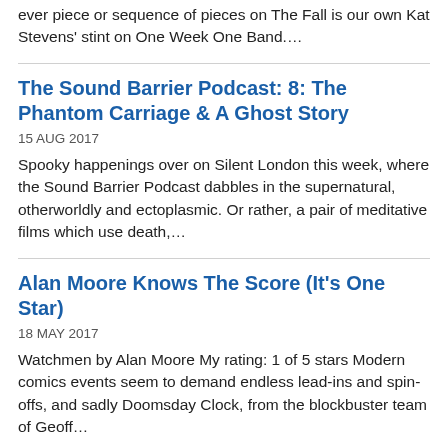ever piece or sequence of pieces on The Fall is our own Kat Stevens' stint on One Week One Band.…
The Sound Barrier Podcast: 8: The Phantom Carriage & A Ghost Story
15 AUG 2017
Spooky happenings over on Silent London this week, where the Sound Barrier Podcast dabbles in the supernatural, otherworldly and ectoplasmic. Or rather, a pair of meditative films which use death,…
Alan Moore Knows The Score (It's One Star)
18 MAY 2017
Watchmen by Alan Moore My rating: 1 of 5 stars Modern comics events seem to demand endless lead-ins and spin-offs, and sadly Doomsday Clock, from the blockbuster team of Geoff…
BACK MARK SINKER'S BOOK!!
27 JUL 2016
UPDATE: the book is funded, so thanks everyone that helped.